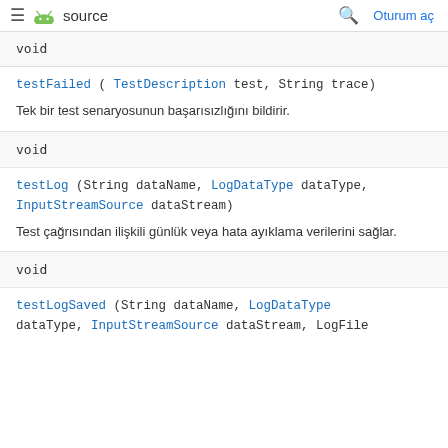≡ [Android] source  🔍  Oturum aç
void
testFailed ( TestDescription test, String trace)
Tek bir test senaryosunun başarısızlığını bildirir.
void
testLog (String dataName, LogDataType dataType, InputStreamSource dataStream)
Test çağrısından ilişkili günlük veya hata ayıklama verilerini sağlar.
void
testLogSaved (String dataName, LogDataType dataType, InputStreamSource dataStream, LogFile